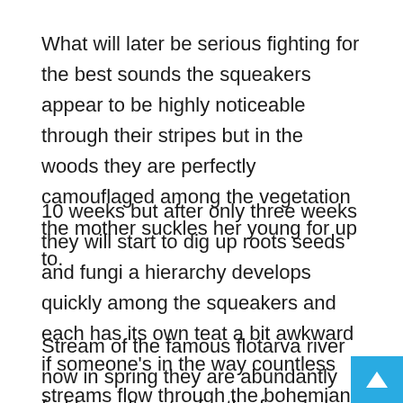What will later be serious fighting for the best sounds the squeakers appear to be highly noticeable through their stripes but in the woods they are perfectly camouflaged among the vegetation the mother suckles her young for up to.
10 weeks but after only three weeks they will start to dig up roots seeds and fungi a hierarchy develops quickly among the squeakers and each has its own teat a bit awkward if someone's in the way countless streams flow through the bohemian forest including the soar.
Stream of the famous flotarva river now in spring they are abundantly fed by melt water for the female lynx water is only for drinking as a typical cat she will not voluntarily go in although she can swim quite well did she hear something with her conspicuous tufted ears the